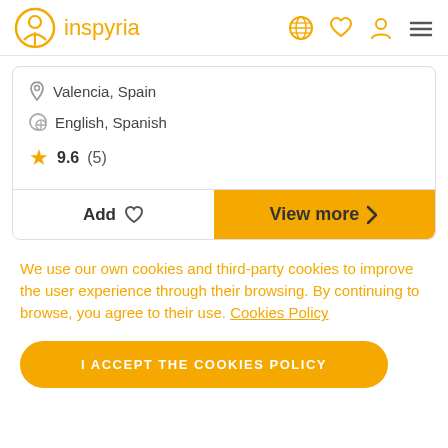inspyria
Valencia, Spain
English, Spanish
9.6 (5)
Add
View more
We use our own cookies and third-party cookies to improve the user experience through their browsing. By continuing to browse, you agree to their use. Cookies Policy
I ACCEPT THE COOKIES POLICY